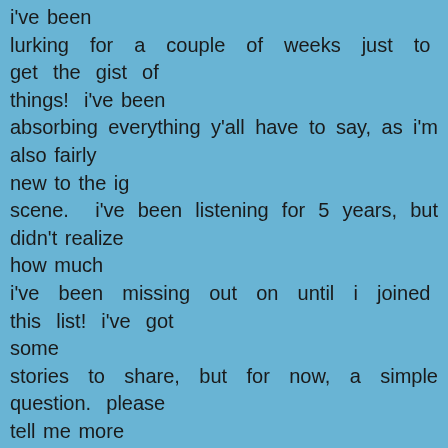i've been lurking for a couple of weeks just to get the gist of things!  i've been absorbing everything y'all have to say, as i'm also fairly new to the ig scene.  i've been listening for 5 years, but didn't realize how much i've been missing out on until i joined this list!  i've got some stories to share, but for now, a simple question.  please tell me more about this b&j folk festival!!!  my friends & i made a pact 4 years ago that we would meet up for at least one ig show a year, no matter where the winds scatter us to, and this folk festival sounds like an incredible road trip in the making for us!  anyone have ticket price info?  where do i call to get tix?  where is it held (newport, ri?) who's scheduled to appear?  any good camping sites nearby, within 30 miles or so?  thanks for any info & help you can send my way!